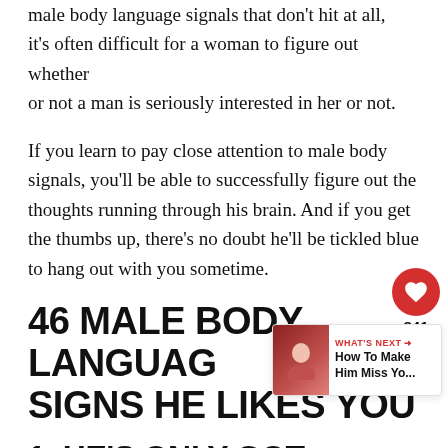male body language signals that don't hit at all, it's often difficult for a woman to figure out whether or not a man is seriously interested in her or not.
If you learn to pay close attention to male body signals, you'll be able to successfully figure out the thoughts running through his brain. And if you get the thumbs up, there's no doubt he'll be tickled blue to hang out with you sometime.
46 MALE BODY LANGUAGE SIGNS HE LIKES YOU
1. HE'S ONLY GOT SMILES FOR